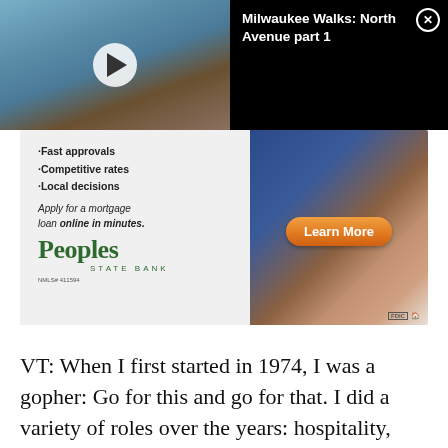[Figure (screenshot): Video thumbnail showing a street scene (Milwaukee North Avenue) with a play button overlay, and a black title bar showing 'Milwaukee Walks: North Avenue part 1' with a close button]
[Figure (photo): Advertisement for Peoples State Bank showing bullet points: Fast approvals, Competitive rates, Local decisions. Apply for a mortgage loan online in minutes. Peoples State Bank logo with Learn More button. NMLS# 411594 and FDIC logo.]
VT: When I first started in 1974, I was a gopher: Go for this and go for that. I did a variety of roles over the years: hospitality, stage manager, security, etc.